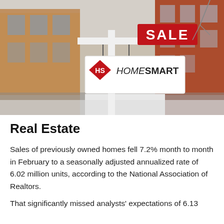[Figure (photo): Photograph of a HomeSmart real estate 'For Sale' sign on a white post in front of red brick residential buildings. The sign has a red 'SALE' panel at the top and a HomeSmart logo placard hanging below.]
Real Estate
Sales of previously owned homes fell 7.2% month to month in February to a seasonally adjusted annualized rate of 6.02 million units, according to the National Association of Realtors.
That significantly missed analysts' expectations of 6.13